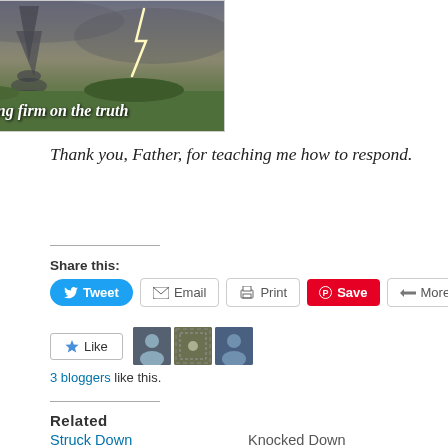[Figure (photo): Photo of a tornado and lightning over a green landscape with text overlay reading "I'm standing firm on the truth"]
Thank you, Father, for teaching me how to respond.
Share this:
Tweet  Email  Print  Save  More
Like
3 bloggers like this.
Related
Struck Down
Knocked Down